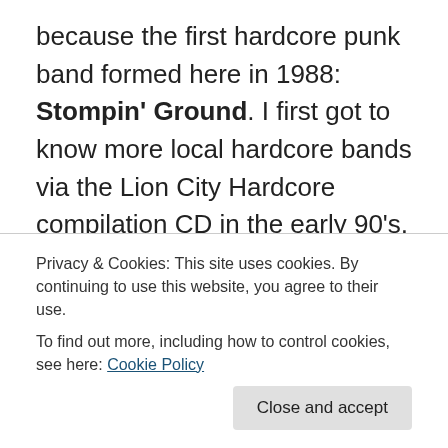because the first hardcore punk band formed here in 1988: Stompin' Ground. I first got to know more local hardcore bands via the Lion City Hardcore compilation CD in the early 90's, which was passed to me by my schoolmate when I was 13. I believe that CD has somehow influenced a lot of kids around the Asian region. I clearly remember falling in love with the music the first time after hearing it, and it got me more interested after reading the lyrics. From there I started going to shows with my skate friends, and also slowly learned more about American hardcore from the songs covered by local
Privacy & Cookies: This site uses cookies. By continuing to use this website, you agree to their use.
To find out more, including how to control cookies, see here: Cookie Policy